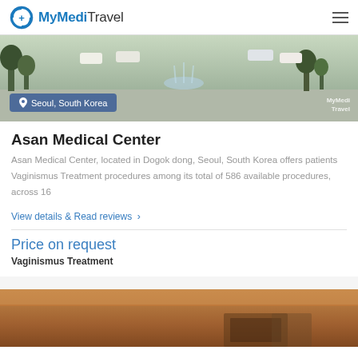MyMediTravel
[Figure (photo): Outdoor photo of a medical facility area with fountains and greenery, Seoul, South Korea. 'MyMedi Travel' watermark visible. Location badge reads 'Seoul, South Korea'.]
Asan Medical Center
Asan Medical Center, located in Dogok dong, Seoul, South Korea offers patients Vaginismus Treatment procedures among its total of 586 available procedures, across 16
View details & Read reviews ›
Price on request
Vaginismus Treatment
[Figure (photo): Interior photo of a medical facility showing a warm-toned ceiling and what appears to be a reception or lobby area.]